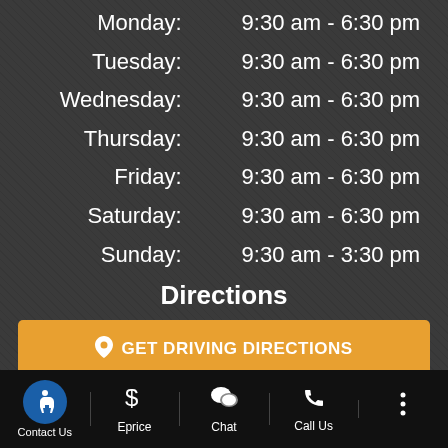| Day | Hours |
| --- | --- |
| Monday: | 9:30 am - 6:30 pm |
| Tuesday: | 9:30 am - 6:30 pm |
| Wednesday: | 9:30 am - 6:30 pm |
| Thursday: | 9:30 am - 6:30 pm |
| Friday: | 9:30 am - 6:30 pm |
| Saturday: | 9:30 am - 6:30 pm |
| Sunday: | 9:30 am - 3:30 pm |
Directions
GET DRIVING DIRECTIONS
Contact Us
Eprice
Chat
Call Us